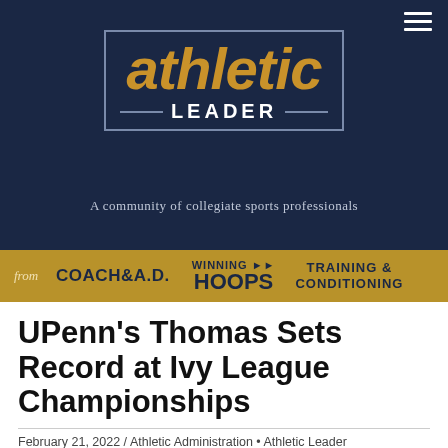[Figure (logo): Athletic Leader logo — 'athletic' in large gold italic text, 'LEADER' in white bold caps with horizontal lines, inside a rectangular border, on dark navy background. Tagline: 'A community of collegiate sports professionals']
[Figure (infographic): Gold navigation bar with 'from' label and three publication names: COACH & A.D., WINNING HOOPS, TRAINING & CONDITIONING]
UPenn's Thomas Sets Record at Ivy League Championships
February 21, 2022 / Athletic Administration • Athletic Leader
University of Pennsylvania senior Lia Thomas won her